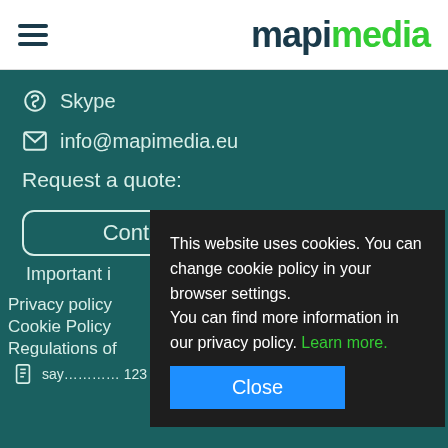[Figure (logo): Mapimedia logo with hamburger menu icon. 'mapi' in dark teal and 'media' in green.]
Skype
info@mapimedia.eu
Request a quote:
Conta...
Important i...
Privacy policy
Cookie Policy
Regulations of...
This website uses cookies. You can change cookie policy in your browser settings. You can find more information in our privacy policy. Learn more.
Close